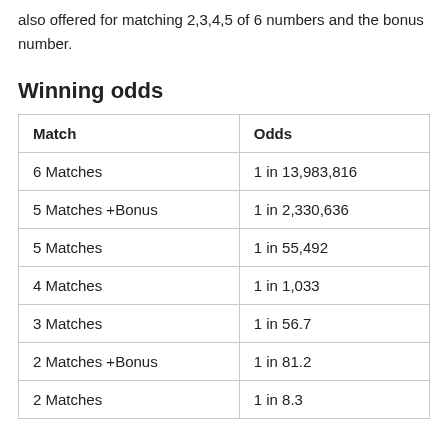also offered for matching 2,3,4,5 of 6 numbers and the bonus number.
Winning odds
| Match | Odds |
| --- | --- |
| 6 Matches | 1 in 13,983,816 |
| 5 Matches +Bonus | 1 in 2,330,636 |
| 5 Matches | 1 in 55,492 |
| 4 Matches | 1 in 1,033 |
| 3 Matches | 1 in 56.7 |
| 2 Matches +Bonus | 1 in 81.2 |
| 2 Matches | 1 in 8.3 |